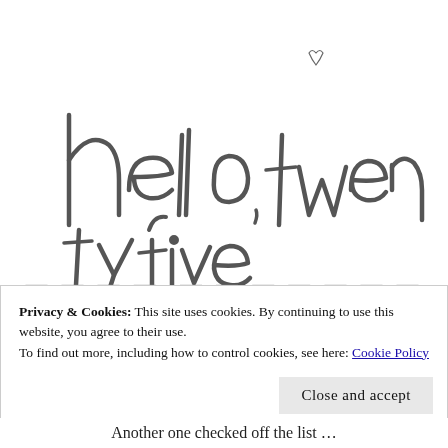[Figure (illustration): Handwritten-style cursive script logo reading 'hello, twentyfive' with a small heart above the 'i' in twentyfive, drawn in dark gray on white background]
Privacy & Cookies: This site uses cookies. By continuing to use this website, you agree to their use.
To find out more, including how to control cookies, see here: Cookie Policy
Close and accept
Another one checked off the list ...